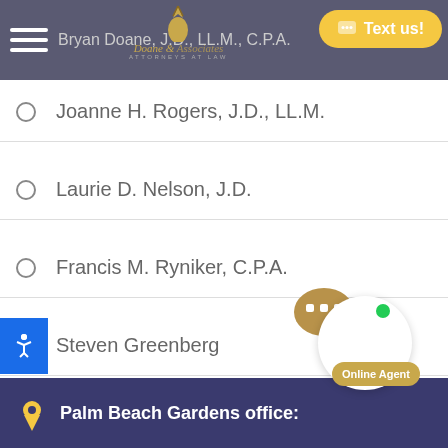Bryan Doane, J.D., LL.M., C.P.A. — Doane & Associates, Attorneys at Law
Joanne H. Rogers, J.D., LL.M.
Laurie D. Nelson, J.D.
Francis M. Ryniker, C.P.A.
Steven Greenberg
Palm Beach Gardens office: